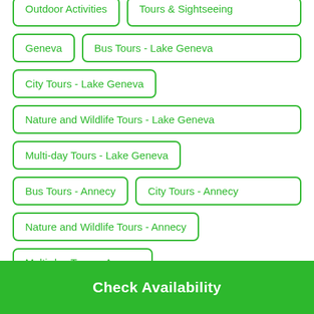Outdoor Activities
Tours & Sightseeing
Geneva
Bus Tours - Lake Geneva
City Tours - Lake Geneva
Nature and Wildlife Tours - Lake Geneva
Multi-day Tours - Lake Geneva
Bus Tours - Annecy
City Tours - Annecy
Nature and Wildlife Tours - Annecy
Multi-day Tours - Annecy
Check Availability